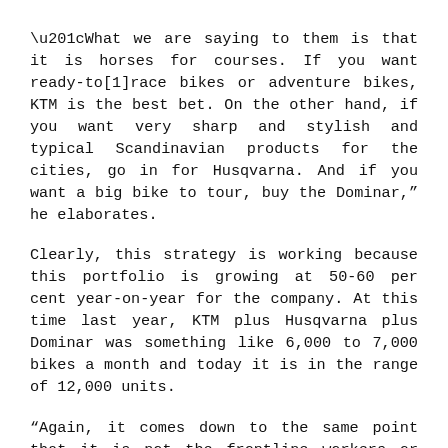“What we are saying to them is that it is horses for courses. If you want ready-to[1]race bikes or adventure bikes, KTM is the best bet. On the other hand, if you want very sharp and stylish and typical Scandinavian products for the cities, go in for Husqvarna. And if you want a big bike to tour, buy the Dominar,” he elaborates.
Clearly, this strategy is working because this portfolio is growing at 50-60 per cent year-on-year for the company. At this time last year, KTM plus Husqvarna plus Dominar was something like 6,000 to 7,000 bikes a month and today it is in the range of 12,000 units.
“Again, it comes down to the same point that it is not the frontline workers or staff who are buying these bikes “Despite this, we are growing at 50-60 per cent otherwise we would probably be growing at 100 per cent. And as far as the shortage of containers is concerned, there seems to be